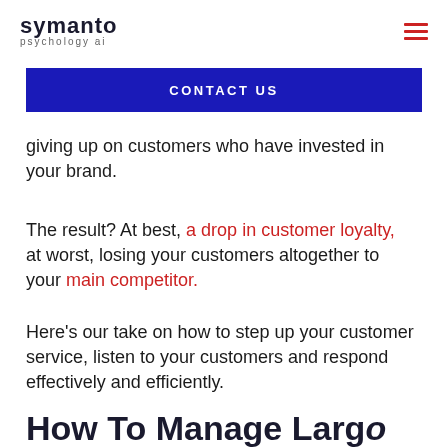symanto psychology ai
CONTACT US
giving up on customers who have invested in your brand.
The result? At best, a drop in customer loyalty, at worst, losing your customers altogether to your main competitor.
Here's our take on how to step up your customer service, listen to your customers and respond effectively and efficiently.
How To Manage Large